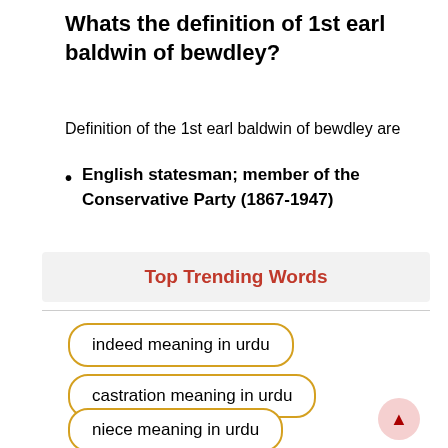Whats the definition of 1st earl baldwin of bewdley?
Definition of the 1st earl baldwin of bewdley are
English statesman; member of the Conservative Party (1867-1947)
Top Trending Words
indeed meaning in urdu
castration meaning in urdu
niece meaning in urdu